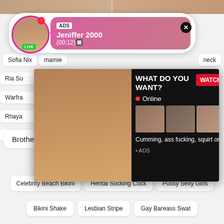[Figure (screenshot): Adult website screenshot with ads, live stream popup, and content thumbnails]
ADS
Jeniffer 2000
(00:12)🔲
LIVE
Sofia Nix
Ria Su
Warfra
Rhaya
Heidi
WHAT DO YOU WANT?
Online
Cumming, ass fucking, squirt or...
• ADS
WATCH
Brother Blackmails Sister
Recent Trends
Celebrity Beach Bikini
Hentai Sucking Cock
Pussy Sexy Girls
Bikini Shake
Lesbian Stripe
Gay Bareass Swat